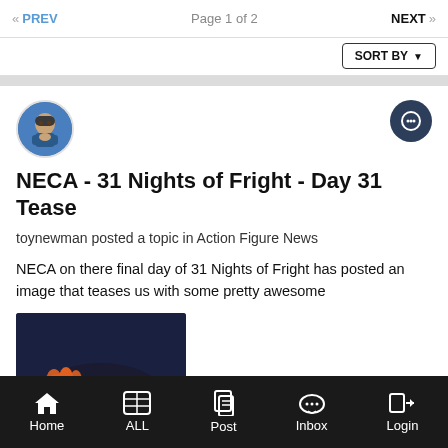PREV  Page 1 of 2  NEXT
NECA - 31 Nights of Fright - Day 31 Tease
toynewman posted a topic in Action Figure News
NECA on there final day of 31 Nights of Fright has posted an image that teases us with some pretty awesome
[Figure (photo): Dark image showing a pile of small action figure accessories or collectibles with orange gloved hand]
November 1, 2021  3 replies
Home  ALL  Post  Inbox  Login